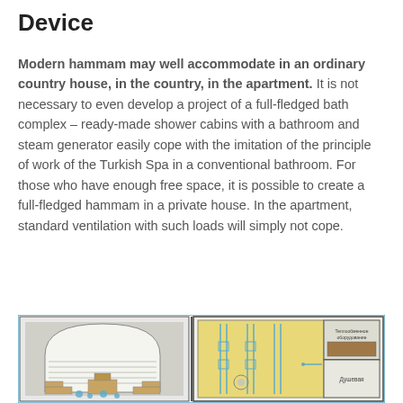Device
Modern hammam may well accommodate in an ordinary country house, in the country, in the apartment. It is not necessary to even develop a project of a full-fledged bath complex – ready-made shower cabins with a bathroom and steam generator easily cope with the imitation of the principle of work of the Turkish Spa in a conventional bathroom. For those who have enough free space, it is possible to create a full-fledged hammam in a private house. In the apartment, standard ventilation with such loads will simply not cope.
[Figure (engineering-diagram): Technical cross-section diagram of a hammam/Turkish bath showing interior layout with arched ceiling (left) and floor plan view (right) with heating pipes, seating areas, and room labeled 'Душевая' (shower room).]